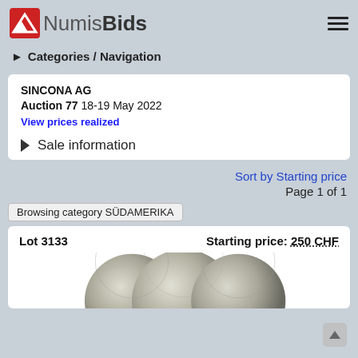[Figure (logo): NumisBids logo with red icon and gray/dark text]
► Categories / Navigation
SINCONA AG
Auction 77  18-19 May 2022
View prices realized
► Sale information
Sort by Starting price
Page 1 of 1
Browsing category SÜDAMERIKA
Lot 3133   Starting price: 250 CHF
[Figure (photo): Three silver coins from South America (SÜDAMERIKA)]